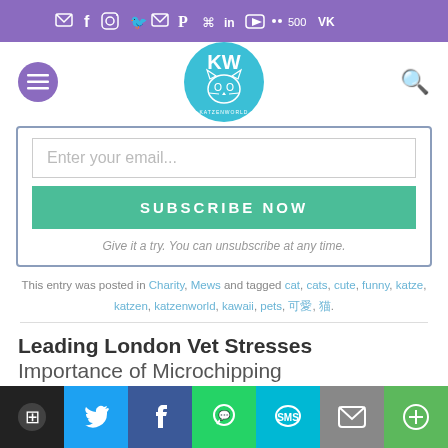Social media icons bar (email, facebook, instagram, twitter, pinterest, RSS, linkedin, youtube, etc.)
[Figure (logo): Katzenworld logo - circular teal badge with cat face and KW letters]
Enter your email...
SUBSCRIBE NOW
Give it a try. You can unsubscribe at any time.
This entry was posted in Charity, Mews and tagged cat, cats, cute, funny, katze, katzen, katzenworld, kawaii, pets, 可愛, 猫.
Leading London Vet Stresses Importance of Microchipping
Share bar: WordPress, Twitter, Facebook, WhatsApp, SMS, Email, More